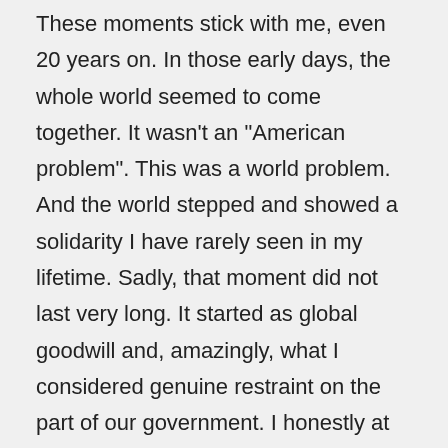These moments stick with me, even 20 years on. In those early days, the whole world seemed to come together. It wasn't an "American problem". This was a world problem. And the world stepped and showed a solidarity I have rarely seen in my lifetime. Sadly, that moment did not last very long. It started as global goodwill and, amazingly, what I considered genuine restraint on the part of our government. I honestly at the time thought, "Oh great. They're going to bomb someone within 24/48 hours because that is what politicians do to appease the public." But they didn't. They spent weeks making sure they knew who was truly responsible and had it right. And then they acted. They first tried the diplomatic approach, telling the Taliban to turn over Osama Bin Laden. But the Taliban